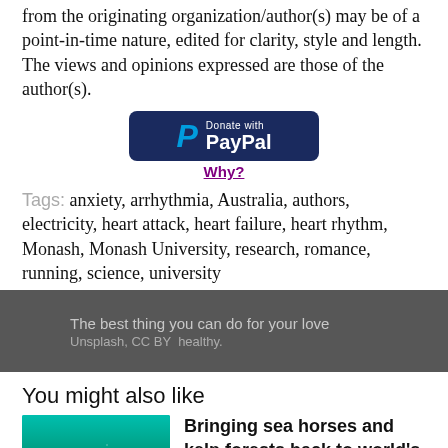from the originating organization/author(s) may be of a point-in-time nature, edited for clarity, style and length. The views and opinions expressed are those of the author(s).
[Figure (other): Donate with PayPal button (dark navy background, PayPal logo and text)]
Why?
Tags: anxiety, arrhythmia, Australia, authors, electricity, heart attack, heart failure, heart rhythm, Monash, Monash University, research, romance, running, science, university
[Figure (photo): Dark overlay band showing text: 'The best thing you can do for your love' and 'Unsplash, CC BY healthy.']
You might also like
[Figure (photo): Underwater photo showing a diver in green-teal water]
Bringing sea horses and kelp forests back to world's most iconic...